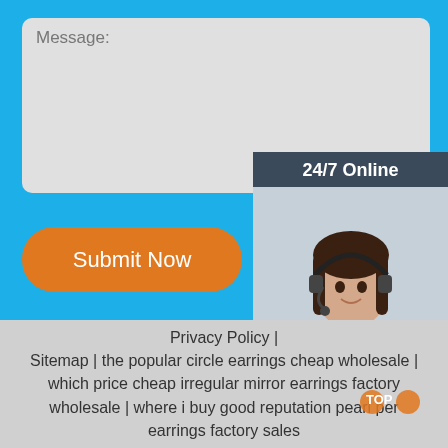Message:
[Figure (screenshot): A web form with a message textarea, Submit Now button, and a 24/7 Online chat widget showing a female customer service representative with headset. The chat widget has a 'Click here for free chat!' caption and a QUOTATION button.]
Privacy Policy | Sitemap | the popular circle earrings cheap wholesale | which price cheap irregular mirror earrings factory wholesale | where i buy good reputation pearl per earrings factory sales